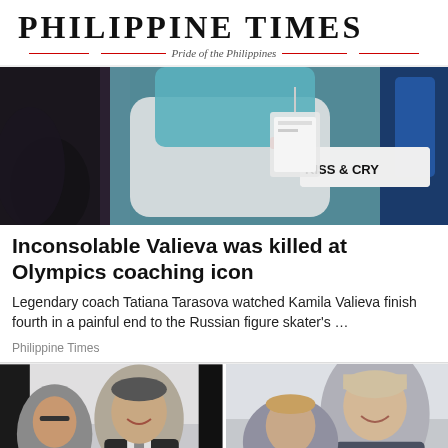Philippine Times — Pride of the Philippines
[Figure (photo): Close-up photo of figure skater at the Kiss & Cry area at the Olympics, wearing a teal/white costume with gloves, sign reading KISS & CRY visible in background]
Inconsolable Valieva was killed at Olympics coaching icon
Legendary coach Tatiana Tarasova watched Kamila Valieva finish fourth in a painful end to the Russian figure skater's …
Philippine Times
[Figure (photo): Two side-by-side photos: left shows a man in a suit smiling with a woman in glasses; right shows a tall smiling man with short hair with a woman beside him]